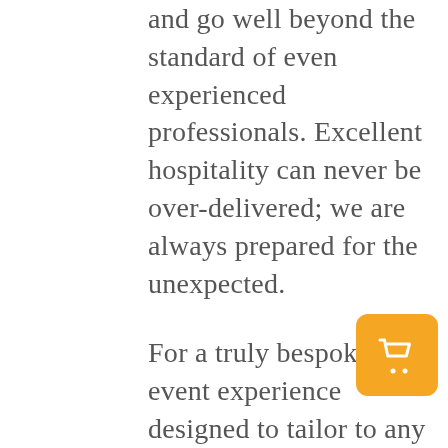and go well beyond the standard of even experienced professionals. Excellent hospitality can never be over-delivered; we are always prepared for the unexpected.
For a truly bespoke event experience designed to tailor to any occasion and style, we can accommodate your most minute preferences. At FAUR Event Staffing in Toronto, we understand that you have a clear vision for your event. Let us help turn it into a reality.
Planning an event can be a daunting
[Figure (other): Yellow/orange rounded square button with a white shopping cart icon]